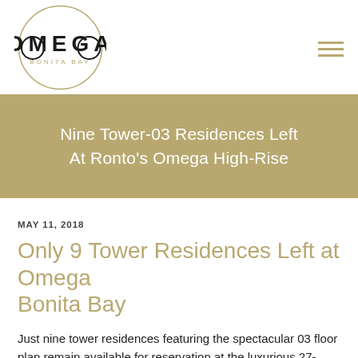[Figure (logo): Omega Bonita Bay logo: circle with OMEGA text and BONITA BAY underneath]
Nine Tower-03 Residences Left At Ronto's Omega High-Rise
MAY 11, 2018
Only 9 Tower Residences Left at Omega Bonita Bay
Just nine tower residences featuring the spectacular 03 floor plan remain available for reservation at the luxurious 27-story Omega high-rise tower to be built by The Ronto Group